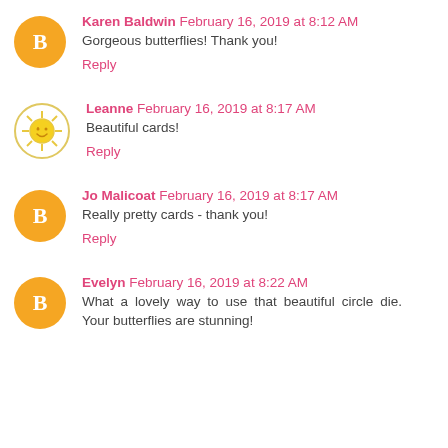Karen Baldwin February 16, 2019 at 8:12 AM
Gorgeous butterflies! Thank you!
Reply
Leanne February 16, 2019 at 8:17 AM
Beautiful cards!
Reply
Jo Malicoat February 16, 2019 at 8:17 AM
Really pretty cards - thank you!
Reply
Evelyn February 16, 2019 at 8:22 AM
What a lovely way to use that beautiful circle die. Your butterflies are stunning!